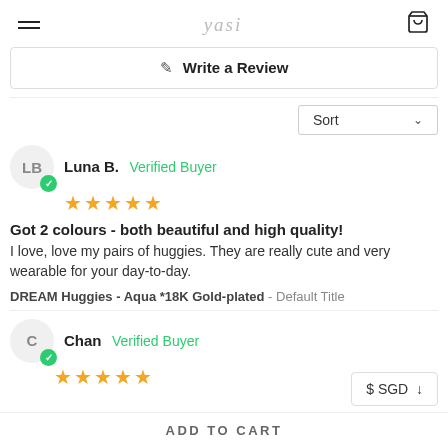≡  yasi  🛍
✎ Write a Review
Sort ∨
Luna B. Verified Buyer ★★★★★
Got 2 colours - both beautiful and high quality! I love, love my pairs of huggies. They are really cute and very wearable for your day-to-day.
DREAM Huggies - Aqua *18K Gold-plated - Default Title
Chan Verified Buyer ★★★★★
$ SGD ↓
ADD TO CART